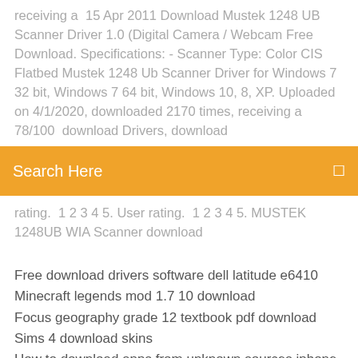receiving a  15 Apr 2011 Download Mustek 1248 UB Scanner Driver 1.0 (Digital Camera / Webcam Free Download. Specifications: - Scanner Type: Color CIS Flatbed Mustek 1248 Ub Scanner Driver for Windows 7 32 bit, Windows 7 64 bit, Windows 10, 8, XP. Uploaded on 4/1/2020, downloaded 2170 times, receiving a 78/100  download Drivers, download
[Figure (other): Orange search bar with text 'Search Here' and a search icon on the right]
rating.  1 2 3 4 5. User rating.  1 2 3 4 5. MUSTEK 1248UB WIA Scanner download
Free download drivers software dell latitude e6410
Minecraft legends mod 1.7 10 download
Focus geography grade 12 textbook pdf download
Sims 4 download skins
How to download apps from unknown sources iphone
Trackmania turbo ps4 download
How to download on planet minecraft